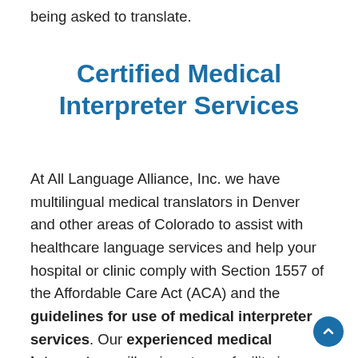being asked to translate.
Certified Medical Interpreter Services
At All Language Alliance, Inc. we have multilingual medical translators in Denver and other areas of Colorado to assist with healthcare language services and help your hospital or clinic comply with Section 1557 of the Affordable Care Act (ACA) and the guidelines for use of medical interpreter services. Our experienced medical interpreters will arrive at your facility in a timely manner to help your staff achieve cultural sensitivity and cultural competence in providing